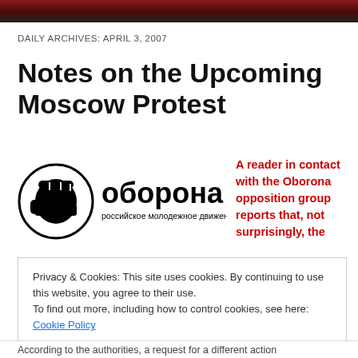DAILY ARCHIVES: APRIL 3, 2007
Notes on the Upcoming Moscow Protest
[Figure (logo): Oborona Russian youth movement logo with fist and Cyrillic text: оборона / российское молодежное движение]
A reader in contact with the Oborona opposition group reports that, not surprisingly, the
Privacy & Cookies: This site uses cookies. By continuing to use this website, you agree to their use.
To find out more, including how to control cookies, see here: Cookie Policy
According to the authorities, a request for a different action